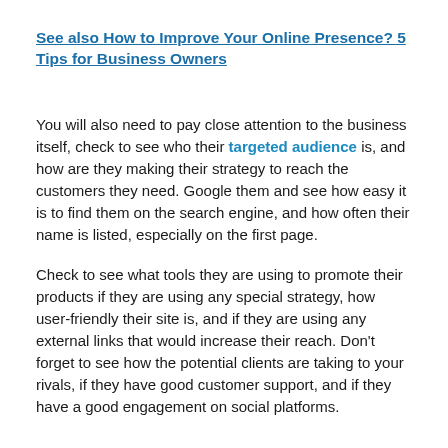See also  How to Improve Your Online Presence? 5 Tips for Business Owners
You will also need to pay close attention to the business itself, check to see who their targeted audience is, and how are they making their strategy to reach the customers they need. Google them and see how easy it is to find them on the search engine, and how often their name is listed, especially on the first page.
Check to see what tools they are using to promote their products if they are using any special strategy, how user-friendly their site is, and if they are using any external links that would increase their reach. Don't forget to see how the potential clients are taking to your rivals, if they have good customer support, and if they have a good engagement on social platforms.